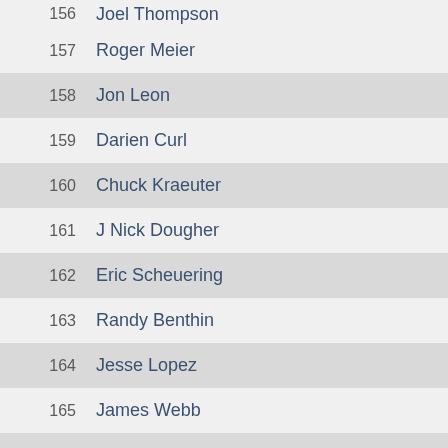156  Joel Thompson
157  Roger Meier
158  Jon Leon
159  Darien Curl
160  Chuck Kraeuter
161  J Nick Dougher
162  Eric Scheuering
163  Randy Benthin
164  Jesse Lopez
165  James Webb
166  Charles Ramsay
167  Mark Everett